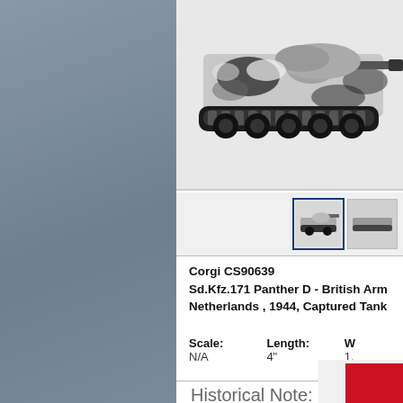[Figure (photo): Close-up photo of a Corgi die-cast model tank (Panther D) in camouflage paint, showing the hull and tracks against a white background]
[Figure (photo): Small thumbnail image of the Corgi model tank in a blue-bordered selection box]
Corgi CS90639
Sd.Kfz.171 Panther D - British Arm... Netherlands , 1944, Captured Tank...
Scale:
N/A
Length:
4"
W...
1...
Historical Note:
[Figure (logo): Partial red logo/icon visible at bottom right of page]